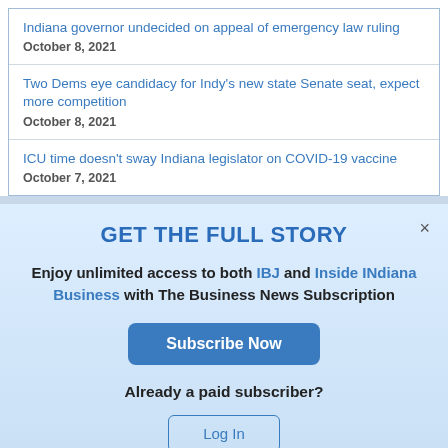Indiana governor undecided on appeal of emergency law ruling
October 8, 2021
Two Dems eye candidacy for Indy's new state Senate seat, expect more competition
October 8, 2021
ICU time doesn't sway Indiana legislator on COVID-19 vaccine
October 7, 2021
GET THE FULL STORY
Enjoy unlimited access to both IBJ and Inside INdiana Business with The Business News Subscription
Subscribe Now
Already a paid subscriber?
Log In